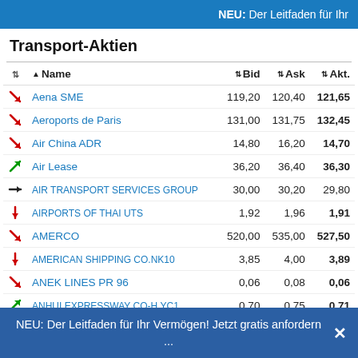NEU: Der Leitfaden für Ihr
Transport-Aktien
|  | Name | Bid | Ask | Akt. |
| --- | --- | --- | --- | --- |
| ↘ | Aena SME | 119,20 | 120,40 | 121,65 |
| ↘ | Aeroports de Paris | 131,00 | 131,75 | 132,45 |
| ↘ | Air China ADR | 14,80 | 16,20 | 14,70 |
| ↗ | Air Lease | 36,20 | 36,40 | 36,30 |
| → | AIR TRANSPORT SERVICES GROUP | 30,00 | 30,20 | 29,80 |
| ↓ | AIRPORTS OF THAI UTS | 1,92 | 1,96 | 1,91 |
| ↘ | AMERCO | 520,00 | 535,00 | 527,50 |
| ↓ | AMERICAN SHIPPING CO.NK10 | 3,85 | 4,00 | 3,89 |
| ↘ | ANEK LINES PR 96 | 0,06 | 0,08 | 0,06 |
| ↗ | ANHUI EXPRESSWAY CO-H.YC1 | 0,70 | 0,75 | 0,71 |
NEU: Der Leitfaden für Ihr Vermögen! Jetzt gratis anfordern ...